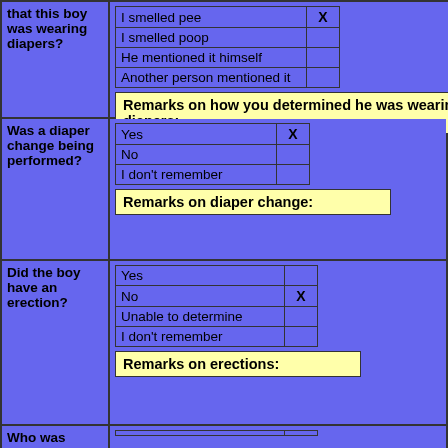| that this boy was wearing diapers? | I smelled pee | X |
|  | I smelled poop |  |
|  | He mentioned it himself |  |
|  | Another person mentioned it |  |
|  | Remarks on how you determined he was wearing diapers: |  |
| Was a diaper change being performed? | Yes | X |
|  | No |  |
|  | I don't remember |  |
|  | Remarks on diaper change: |  |
| Did the boy have an erection? | Yes |  |
|  | No | X |
|  | Unable to determine |  |
|  | I don't remember |  |
|  | Remarks on erections: |  |
| Who was... |  |  |